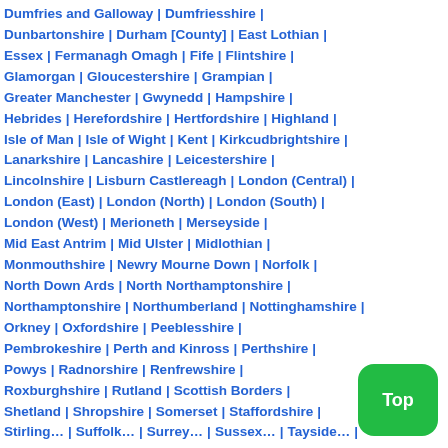Dumfries and Galloway | Dumfriesshire | Dunbartonshire | Durham [County] | East Lothian | Essex | Fermanagh Omagh | Fife | Flintshire | Glamorgan | Gloucestershire | Grampian | Greater Manchester | Gwynedd | Hampshire | Hebrides | Herefordshire | Hertfordshire | Highland | Isle of Man | Isle of Wight | Kent | Kirkcudbrightshire | Lanarkshire | Lancashire | Leicestershire | Lincolnshire | Lisburn Castlereagh | London (Central) | London (East) | London (North) | London (South) | London (West) | Merioneth | Merseyside | Mid East Antrim | Mid Ulster | Midlothian | Monmouthshire | Newry Mourne Down | Norfolk | North Down Ards | North Northamptonshire | Northamptonshire | Northumberland | Nottinghamshire | Orkney | Oxfordshire | Peeblesshire | Pembrokeshire | Perth and Kinross | Perthshire | Powys | Radnorshire | Renfrewshire | Roxburghshire | Rutland | Scottish Borders | Shetland | Shropshire | Somerset | Staffordshire | Stirlingshire | Suffolk | Surrey | Sussex | Tayside